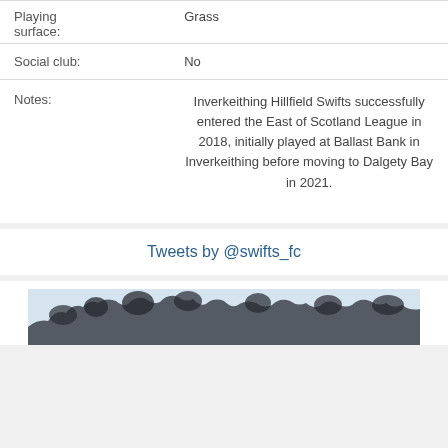| Field | Value |
| --- | --- |
| Playing surface: | Grass |
| Social club: | No |
| Notes: | Inverkeithing Hillfield Swifts successfully entered the East of Scotland League in 2018, initially played at Ballast Bank in Inverkeithing before moving to Dalgety Bay in 2021. |
Tweets by @swifts_fc
[Figure (photo): A narrow panoramic photo strip showing a treeline silhouette against a light blue-grey sky, partially cropped at the bottom of the page.]